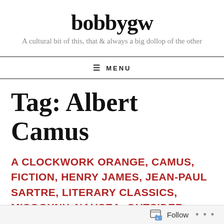bobbygw
A cultural bit of this, that & always a big dollop of the other
≡ MENU
Tag: Albert Camus
A CLOCKWORK ORANGE, CAMUS, FICTION, HENRY JAMES, JEAN-PAUL SARTRE, LITERARY CLASSICS, MISOGYNY, NAUSEA, OUTSIDER, SADEGH HEDAYAT, SADIQ HIDAYAT, THE BLIND OWL, THE CASTLE, THE